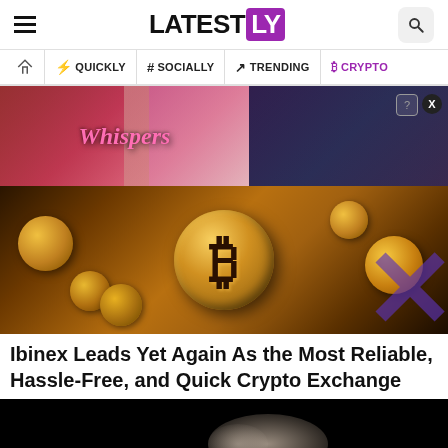LATESTLY
QUICKLY | # SOCIALLY | TRENDING | CRYPTO
[Figure (photo): Advertisement banner for 'Whispers' app/game featuring romantic scenes and the Whispers logo]
[Figure (photo): Bitcoin gold coin surrounded by other gold coins, close-up photo with X watermark overlay]
Ibinex Leads Yet Again As the Most Reliable, Hassle-Free, and Quick Crypto Exchange
[Figure (photo): Dark background with blurred light element, partially visible at bottom of page]